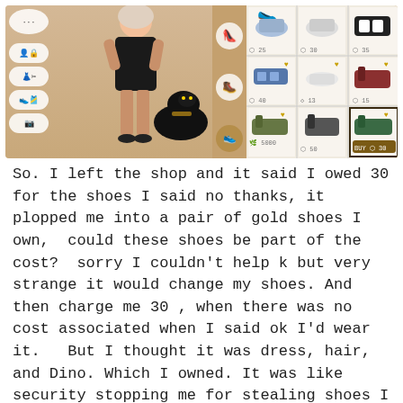[Figure (screenshot): A mobile fashion game screenshot showing a character in a black dress with a black panther pet, alongside a shoe shop interface with various shoe options and prices (25, 30, 35 diamonds; 40, 13, 15; 5000 coins, 50 diamonds, BUY 30 diamonds).]
So. I left the shop and it said I owed 30 for the shoes I said no thanks, it plopped me into a pair of gold shoes I own,  could these shoes be part of the cost?  sorry I couldn't help k but very strange it would change my shoes. And then charge me 30 , when there was no cost associated when I said ok I'd wear it.   But I thought it was dress, hair, and Dino. Which I owned. It was like security stopping me for stealing shoes I didn't even know they slipped me into, lol.